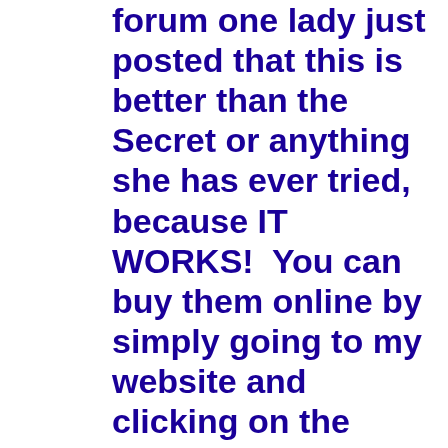forum one lady just posted that this is better than the Secret or anything she has ever tried, because IT WORKS!  You can buy them online by simply going to my website and clicking on the images on the side (which takes you to